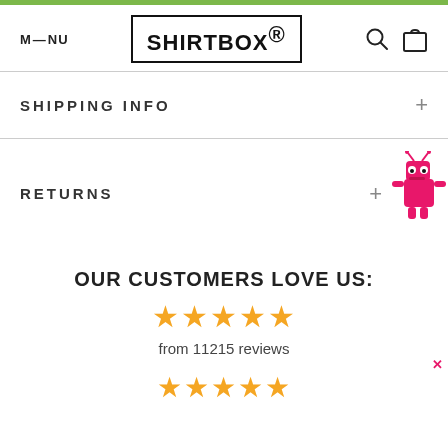SHIRTBOX
SHIPPING INFO
RETURNS
OUR CUSTOMERS LOVE US:
from 11215 reviews